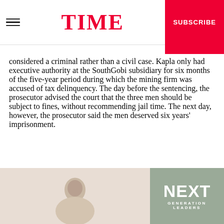TIME | SUBSCRIBE
considered a criminal rather than a civil case. Kapla only had executive authority at the SouthGobi subsidiary for six months of the five-year period during which the mining firm was accused of tax delinquency. The day before the sentencing, the prosecutor advised the court that the three men should be subject to fines, without recommending jail time. The next day, however, the prosecutor said the men deserved six years' imprisonment.
[Figure (photo): Person silhouette / portrait photo on left side at bottom of page]
[Figure (other): Next Generation Leaders promotional banner/advertisement in grey-green tones]